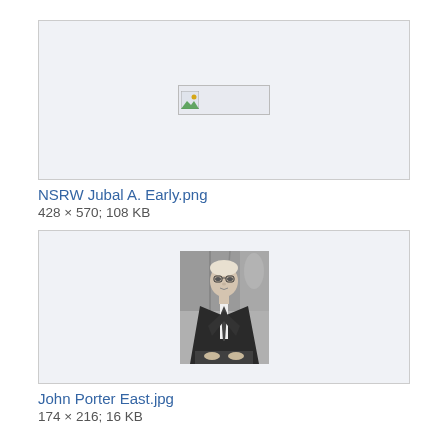[Figure (photo): Broken image placeholder representing NSRW Jubal A. Early.png]
NSRW Jubal A. Early.png
428 × 570; 108 KB
[Figure (photo): Black and white photograph of John Porter East, a man in a suit seated with an American flag in the background]
John Porter East.jpg
174 × 216; 16 KB